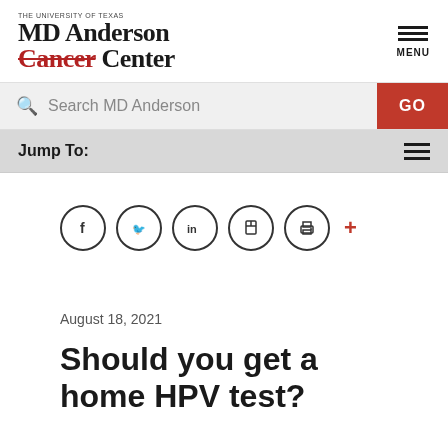[Figure (logo): MD Anderson Cancer Center logo with 'THE UNIVERSITY OF TEXAS' above and 'Cancer' with red strikethrough]
[Figure (infographic): Hamburger menu icon with three horizontal bars and MENU label]
[Figure (infographic): Search bar with magnifying glass icon, placeholder text 'Search MD Anderson' and red GO button]
Jump To:
[Figure (infographic): Social share icons row: Facebook, Twitter, LinkedIn, bookmark, print circles, and a red plus sign]
August 18, 2021
Should you get a home HPV test?